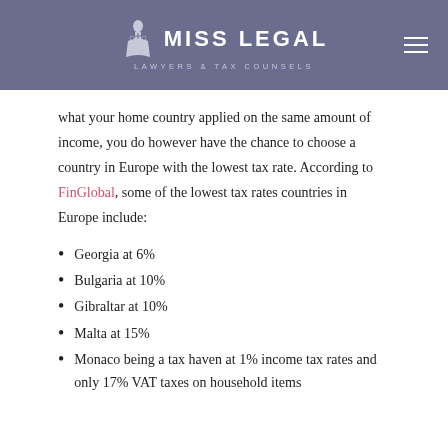MISS LEGAL — LAWYERS & TAX COUNSELS
what your home country applied on the same amount of income, you do however have the chance to choose a country in Europe with the lowest tax rate. According to FinGlobal, some of the lowest tax rates countries in Europe include:
Georgia at 6%
Bulgaria at 10%
Gibraltar at 10%
Malta at 15%
Monaco being a tax haven at 1% income tax rates and only 17% VAT taxes on household items